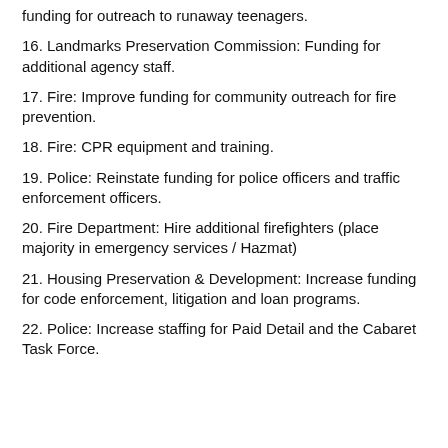funding for outreach to runaway teenagers.
16. Landmarks Preservation Commission: Funding for additional agency staff.
17. Fire: Improve funding for community outreach for fire prevention.
18. Fire: CPR equipment and training.
19. Police: Reinstate funding for police officers and traffic enforcement officers.
20. Fire Department: Hire additional firefighters (place majority in emergency services / Hazmat)
21. Housing Preservation & Development: Increase funding for code enforcement, litigation and loan programs.
22. Police: Increase staffing for Paid Detail and the Cabaret Task Force.